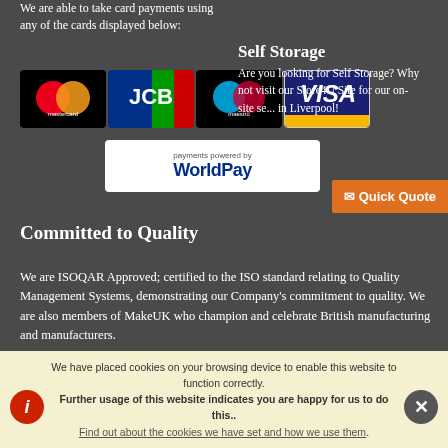We are able to take card payments using any of the cards displayed below:
[Figure (logo): Mastercard payment logo on black background]
[Figure (logo): JCB payment logo with blue/green/red gradient]
[Figure (logo): Maestro payment logo on black background]
[Figure (logo): VISA payment logo on navy/gold background]
[Figure (logo): WorldPay logo - payments powered by WorldPay]
Self Storage
Are you looking for Self Storage? Why not visit our Store4U Site for our on-site se... in Liverpool!
[Figure (other): Quick Quote button with orange background]
Committed to Quality
We are ISOQAR Approved; certified to the ISO standard relating to Quality Management Systems, demonstrating our Company's commitment to quality. We are also members of MakeUK who champion and celebrate British manufacturing and manufacturers.
[Figure (logo): MakeUK logo and ISOQAR certification logos]
We have placed cookies on your browsing device to enable this website to function correctly.
Further usage of this website indicates you are happy for us to do this..
Find out about the cookies we have set and how we use them.